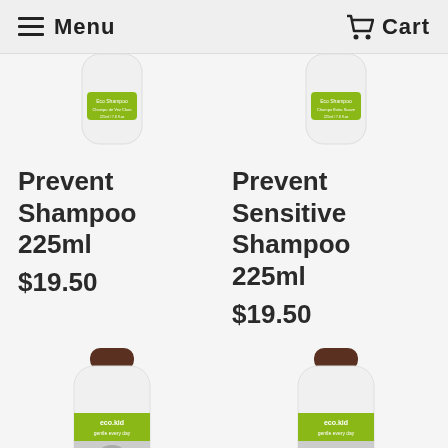Menu   Cart
[Figure (photo): Eco.kid Prevent Shampoo 225ml bottle, white with green label, partially visible at top]
Prevent Shampoo 225ml
$19.50
[Figure (photo): Eco.kid Prevent Sensitive Shampoo 225ml bottle, white with green label, partially visible at top]
Prevent Sensitive Shampoo 225ml
$19.50
[Figure (photo): Eco.kid product bottle, white with green label and photo, partially visible at bottom]
[Figure (photo): Eco.kid product bottle, white with green label, partially visible at bottom]